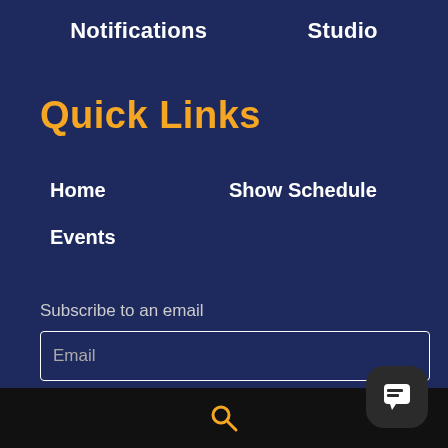Notifications   Studio
Quick Links
Home
Show Schedule
Events
Subscribe to an email
Email
search icon / chat icon